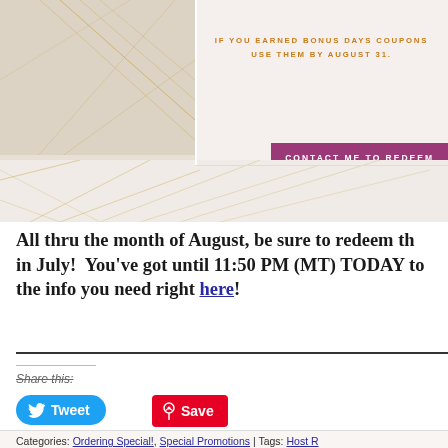[Figure (infographic): Top banner with decorative geometric gold line pattern and promotional text: IF YOU EARNED BONUS DAYS COUPONS USE THEM BY AUGUST 31, with a magenta CONTACT ME TO REDEEM button]
All thru the month of August, be sure to redeem th... in July! You've got until 11:50 PM (MT) TODAY to the info you need right here!
Share this:
Tweet
Save
Like this:
2 bloggers like this.
Categories: Ordering Special!, Special Promotions | Tags: Host R...